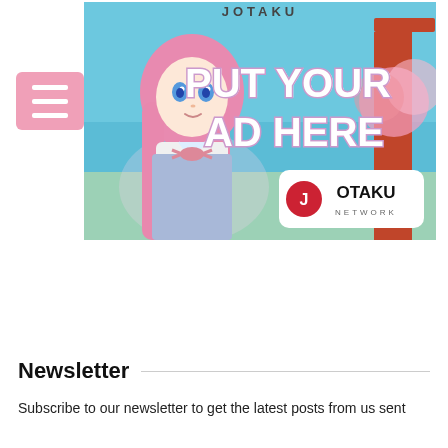[Figure (illustration): Anime-style advertisement banner for Jotaku Network. Features a pink-haired anime girl in a school uniform (white blouse, blue pinafore, pink ribbon) in front of a Japanese torii gate with cherry blossom trees. Large white bold text reads 'PUT YOUR AD HERE'. A white rounded rectangle contains the Jotaku Network logo (red circle with J symbol, black JOTAKU text, 'NETWORK' below). The banner has a teal/blue sky background. Text 'JOTAKU' is written across the top arch of the torii gate.]
Newsletter
Subscribe to our newsletter to get the latest posts from us sent